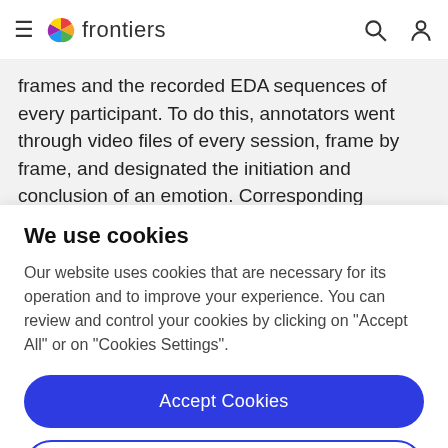frontiers
frames and the recorded EDA sequences of every participant. To do this, annotators went through video files of every session, frame by frame, and designated the initiation and conclusion of an emotion. Corresponding sequences of EDA signals were then identified and
We use cookies
Our website uses cookies that are necessary for its operation and to improve your experience. You can review and control your cookies by clicking on "Accept All" or on "Cookies Settings".
Accept Cookies
Cookies Settings